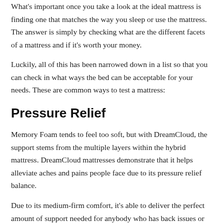What's important once you take a look at the ideal mattress is finding one that matches the way you sleep or use the mattress. The answer is simply by checking what are the different facets of a mattress and if it's worth your money.
Luckily, all of this has been narrowed down in a list so that you can check in what ways the bed can be acceptable for your needs. These are common ways to test a mattress:
Pressure Relief
Memory Foam tends to feel too soft, but with DreamCloud, the support stems from the multiple layers within the hybrid mattress. DreamCloud mattresses demonstrate that it helps alleviate aches and pains people face due to its pressure relief balance.
Due to its medium-firm comfort, it's able to deliver the perfect amount of support needed for anybody who has back issues or aching in their sleep. Some tests show that it doesn't only help with